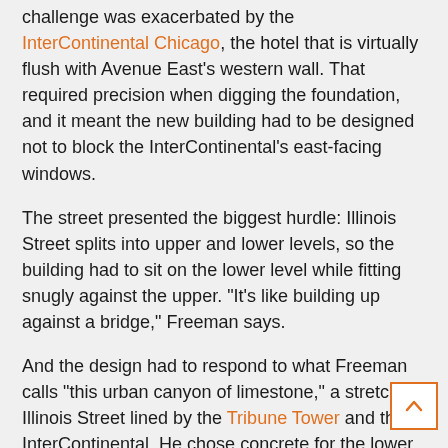challenge was exacerbated by the InterContinental Chicago, the hotel that is virtually flush with Avenue East's western wall. That required precision when digging the foundation, and it meant the new building had to be designed not to block the InterContinental's east-facing windows.
The street presented the biggest hurdle: Illinois Street splits into upper and lower levels, so the building had to sit on the lower level while fitting snugly against the upper. "It's like building up against a bridge," Freeman says.
And the design had to respond to what Freeman calls "this urban canyon of limestone," a stretch of Illinois Street lined by the Tribune Tower and the InterContinental. He chose concrete for the lower portion of Avenue East that faces Illinois, to lend some consistency to street-level views, he says. The upper portion of the building, and a long central section facing Saint Clair Street, are glass.
"We used everything from precast concrete panels to an aluminu...